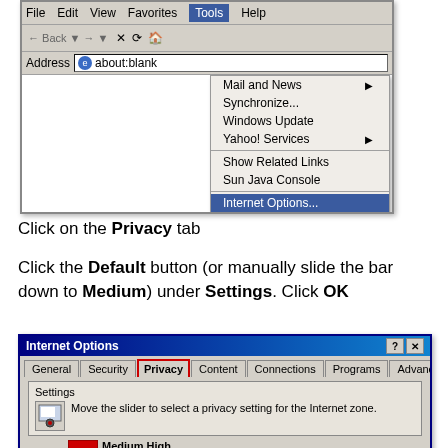[Figure (screenshot): Internet Explorer browser window showing Tools dropdown menu open with 'Internet Options...' highlighted in blue. Menu shows: Mail and News, Synchronize..., Windows Update, Yahoo! Services, Show Related Links, Sun Java Console, Internet Options...]
Click on the Privacy tab
Click the Default button (or manually slide the bar down to Medium) under Settings. Click OK
[Figure (screenshot): Internet Options dialog box showing tabs: General, Security, Privacy (highlighted with red border), Content, Connections, Programs, Advanced. Settings section shows slider icon with text 'Move the slider to select a privacy setting for the Internet zone.' Bottom shows red bar indicating Medium High setting.]